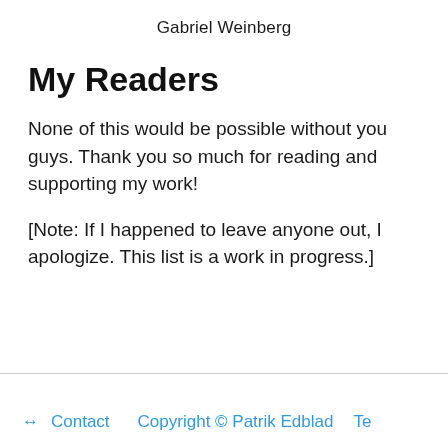Gabriel Weinberg
My Readers
None of this would be possible without you guys. Thank you so much for reading and supporting my work!
[Note: If I happened to leave anyone out, I apologize. This list is a work in progress.]
↔ Contact   Copyright © Patrik Edblad   Te